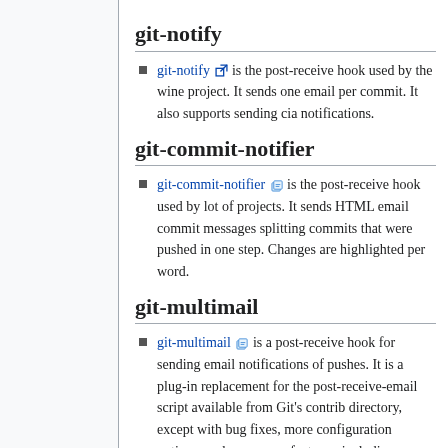git-notify
git-notify [icon] is the post-receive hook used by the wine project. It sends one email per commit. It also supports sending cia notifications.
git-commit-notifier
git-commit-notifier [icon] is the post-receive hook used by lot of projects. It sends HTML email commit messages splitting commits that were pushed in one step. Changes are highlighted per word.
git-multimail
git-multimail [icon] is a post-receive hook for sending email notifications of pushes. It is a plug-in replacement for the post-receive-email script available from Git's contrib directory, except with bug fixes, more configuration options, and many new features, including a one-email-per-commit mode that threads commit emails by branch. It is easily extensible in Python.